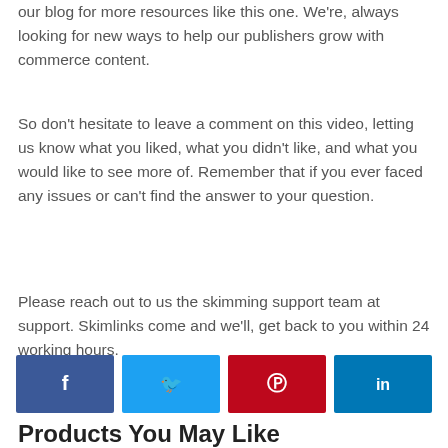our blog for more resources like this one. We're, always looking for new ways to help our publishers grow with commerce content.
So don't hesitate to leave a comment on this video, letting us know what you liked, what you didn't like, and what you would like to see more of. Remember that if you ever faced any issues or can't find the answer to your question.
Please reach out to us the skimming support team at support. Skimlinks come and we'll, get back to you within 24 working hours.
[Figure (infographic): Social media share buttons: Facebook (blue), Twitter (light blue), Pinterest (red), LinkedIn (dark blue)]
Products You May Like